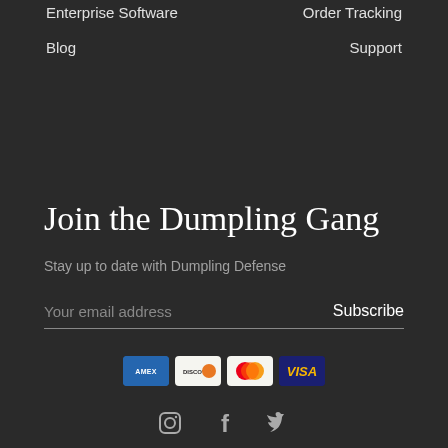Enterprise Software
Order Tracking
Blog
Support
Join the Dumpling Gang
Stay up to date with Dumpling Defense
Your email address
Subscribe
[Figure (other): Payment method icons: American Express, Discover, Mastercard, Visa]
[Figure (other): Social media icons: Instagram, Facebook, Twitter]